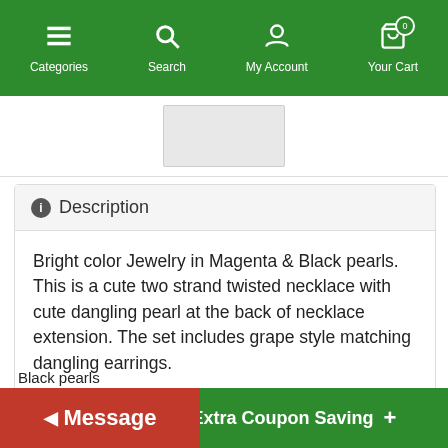Categories | Search | My Account | Your Cart
[Figure (screenshot): Partial product image visible at top of content area]
ⓘ Description
Bright color Jewelry in Magenta & Black pearls. This is a cute two strand twisted necklace with cute dangling pearl at the back of necklace extension. The set includes grape style matching dangling earrings.
It is fabulous! It boasts a ton of flawless & luminous pearls Two strands twisted statement necklace & earring would be gorgeous jewelry.
Black pearls
[Figure (screenshot): Message button overlay (red) and Extra Coupon Saving button (green) at the bottom of the page]